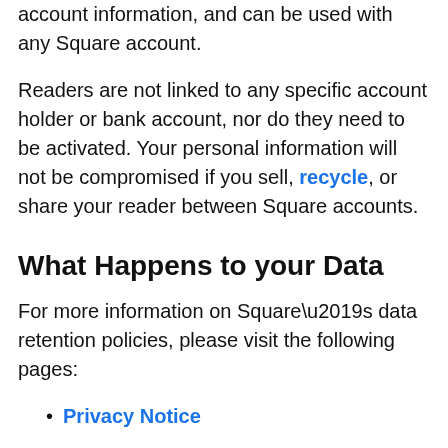account information, and can be used with any Square account.
Readers are not linked to any specific account holder or bank account, nor do they need to be activated. Your personal information will not be compromised if you sell, recycle, or share your reader between Square accounts.
What Happens to your Data
For more information on Square’s data retention policies, please visit the following pages:
Privacy Notice